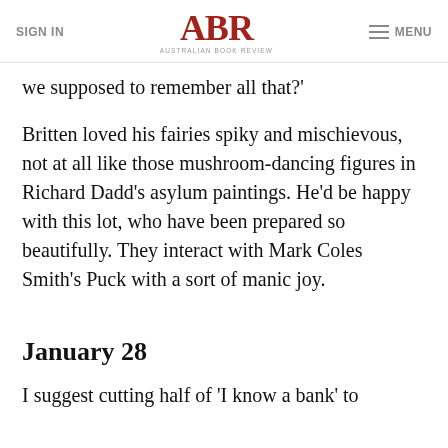SIGN IN | ABR Australian Book Review | MENU
we supposed to remember all that?'
Britten loved his fairies spiky and mischievous, not at all like those mushroom-dancing figures in Richard Dadd's asylum paintings. He'd be happy with this lot, who have been prepared so beautifully. They interact with Mark Coles Smith's Puck with a sort of manic joy.
January 28
I suggest cutting half of 'I know a bank' to